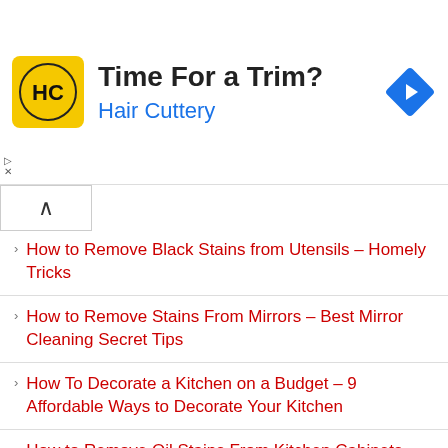[Figure (infographic): Advertisement banner for Hair Cuttery. Yellow square logo with HC monogram, bold text 'Time For a Trim?' and blue 'Hair Cuttery' subtitle, blue diamond navigation arrow icon on right.]
How to Remove Black Stains from Utensils – Homely Tricks
How to Remove Stains From Mirrors – Best Mirror Cleaning Secret Tips
How To Decorate a Kitchen on a Budget – 9 Affordable Ways to Decorate Your Kitchen
How to Remove Oil Stains From Kitchen Cabinets – Easy and homely tips
Best Butane Torch Lighter – A Complete Buying